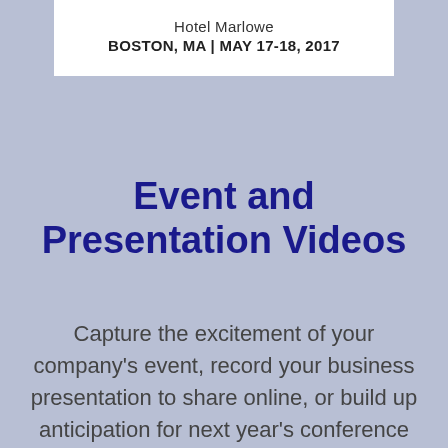Hotel Marlowe
BOSTON, MA | MAY 17-18, 2017
Event and Presentation Videos
Capture the excitement of your company’s event, record your business presentation to share online, or build up anticipation for next year’s conference with an overview video. We’ll integrate your slides into your presentations and